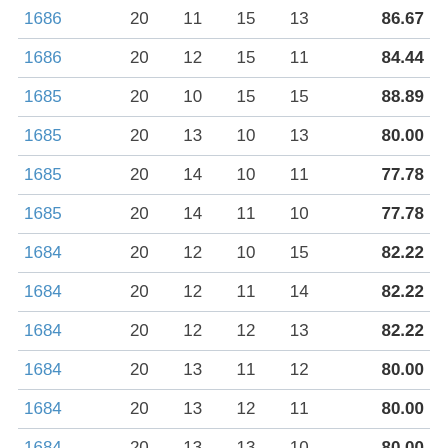| 1686 | 20 | 11 | 15 | 13 | 86.67 |
| 1686 | 20 | 12 | 15 | 11 | 84.44 |
| 1685 | 20 | 10 | 15 | 15 | 88.89 |
| 1685 | 20 | 13 | 10 | 13 | 80.00 |
| 1685 | 20 | 14 | 10 | 11 | 77.78 |
| 1685 | 20 | 14 | 11 | 10 | 77.78 |
| 1684 | 20 | 12 | 10 | 15 | 82.22 |
| 1684 | 20 | 12 | 11 | 14 | 82.22 |
| 1684 | 20 | 12 | 12 | 13 | 82.22 |
| 1684 | 20 | 13 | 11 | 12 | 80.00 |
| 1684 | 20 | 13 | 12 | 11 | 80.00 |
| 1684 | 20 | 13 | 13 | 10 | 80.00 |
| 1683 | 20 | 11 | 12 | 15 | 84.44 |